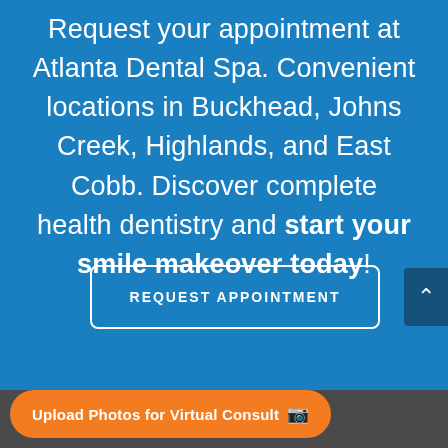Request your appointment at Atlanta Dental Spa. Convenient locations in Buckhead, Johns Creek, Highlands, and East Cobb. Discover complete health dentistry and start your smile makeover today!
REQUEST APPOINTMENT
Upload Photos for Virtual Consult